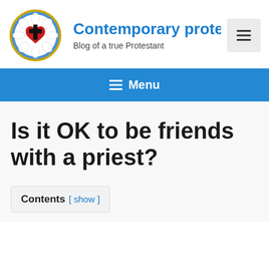[Figure (logo): Luther Rose circular logo with red heart and black cross in white flower on blue background with gold ring]
Contemporary protes
Blog of a true Protestant
[Figure (other): Hamburger menu button (three horizontal lines) on light grey background]
≡ Menu
Is it OK to be friends with a priest?
Contents [ show ]